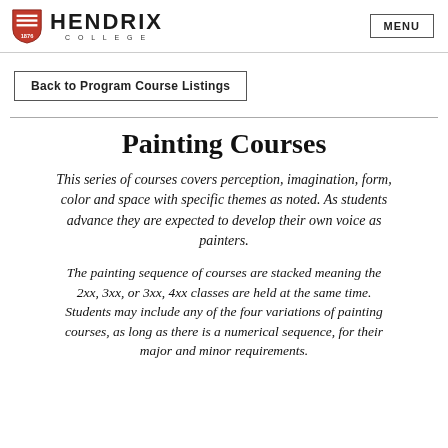HENDRIX COLLEGE | MENU
Back to Program Course Listings
Painting Courses
This series of courses covers perception, imagination, form, color and space with specific themes as noted. As students advance they are expected to develop their own voice as painters.
The painting sequence of courses are stacked meaning the 2xx, 3xx, or 3xx, 4xx classes are held at the same time. Students may include any of the four variations of painting courses, as long as there is a numerical sequence, for their major and minor requirements.